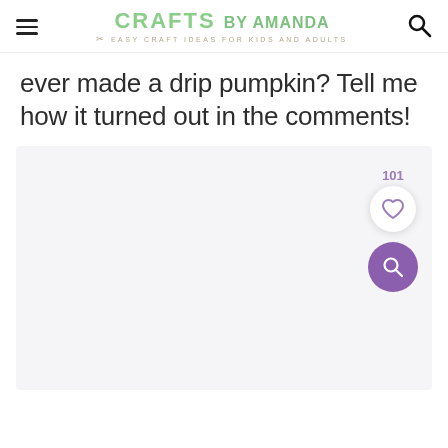CRAFTS BY AMANDA — EASY CRAFT IDEAS FOR KIDS AND ADULTS
ever made a drip pumpkin? Tell me how it turned out in the comments!
[Figure (screenshot): Light gray placeholder image area with a like count of 101, a heart button, and a purple search button in the bottom right area.]